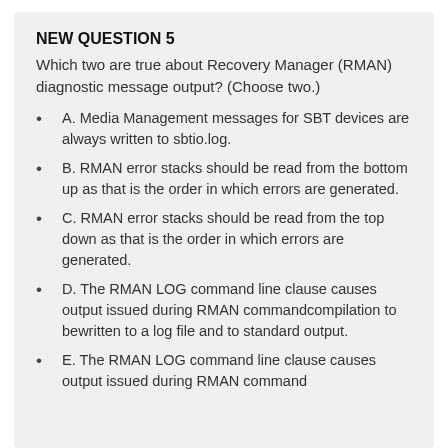NEW QUESTION 5
Which two are true about Recovery Manager (RMAN) diagnostic message output? (Choose two.)
A. Media Management messages for SBT devices are always written to sbtio.log.
B. RMAN error stacks should be read from the bottom up as that is the order in which errors are generated.
C. RMAN error stacks should be read from the top down as that is the order in which errors are generated.
D. The RMAN LOG command line clause causes output issued during RMAN commandcompilation to bewritten to a log file and to standard output.
E. The RMAN LOG command line clause causes output issued during RMAN command...